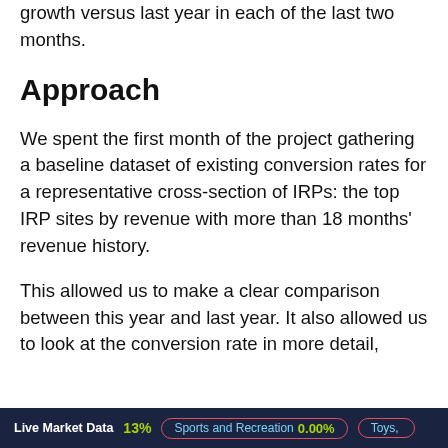growth versus last year in each of the last two months.
Approach
We spent the first month of the project gathering a baseline dataset of existing conversion rates for a representative cross-section of IRPs: the top IRP sites by revenue with more than 18 months’ revenue history.
This allowed us to make a clear comparison between this year and last year. It also allowed us to look at the conversion rate in more detail,
Live Market Data 13% | Sports and Recreation 0.00% | Toys, ...